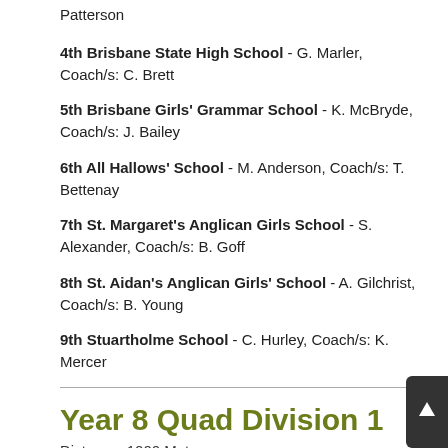Patterson
4th Brisbane State High School - G. Marler, Coach/s: C. Brett
5th Brisbane Girls' Grammar School - K. McBryde, Coach/s: J. Bailey
6th All Hallows' School - M. Anderson, Coach/s: T. Bettenay
7th St. Margaret's Anglican Girls School - S. Alexander, Coach/s: B. Goff
8th St. Aidan's Anglican Girls' School - A. Gilchrist, Coach/s: B. Young
9th Stuartholme School - C. Hurley, Coach/s: K. Mercer
Year 8 Quad Division 1
Distance: 1000 Metres
Winning Time: 3:49.00